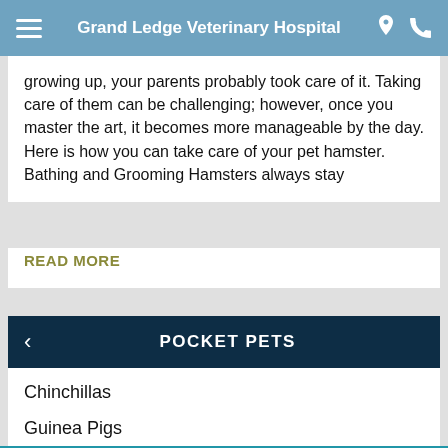Grand Ledge Veterinary Hospital
growing up, your parents probably took care of it. Taking care of them can be challenging; however, once you master the art, it becomes more manageable by the day. Here is how you can take care of your pet hamster. Bathing and Grooming Hamsters always stay
READ MORE
POCKET PETS
Chinchillas
Guinea Pigs
Hamsters